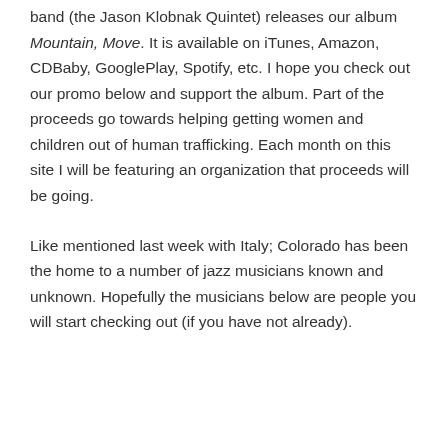band (the Jason Klobnak Quintet) releases our album Mountain, Move. It is available on iTunes, Amazon, CDBaby, GooglePlay, Spotify, etc. I hope you check out our promo below and support the album. Part of the proceeds go towards helping getting women and children out of human trafficking. Each month on this site I will be featuring an organization that proceeds will be going.
Like mentioned last week with Italy; Colorado has been the home to a number of jazz musicians known and unknown. Hopefully the musicians below are people you will start checking out (if you have not already).